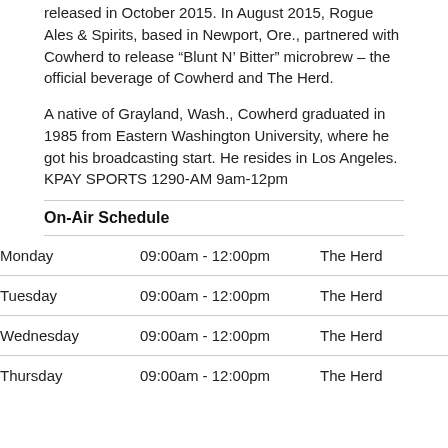released in October 2015. In August 2015, Rogue Ales & Spirits, based in Newport, Ore., partnered with Cowherd to release “Blunt N’ Bitter” microbrew – the official beverage of Cowherd and The Herd.
A native of Grayland, Wash., Cowherd graduated in 1985 from Eastern Washington University, where he got his broadcasting start. He resides in Los Angeles. KPAY SPORTS 1290-AM 9am-12pm
On-Air Schedule
| Day | Time | Show |
| --- | --- | --- |
| Monday | 09:00am - 12:00pm | The Herd |
| Tuesday | 09:00am - 12:00pm | The Herd |
| Wednesday | 09:00am - 12:00pm | The Herd |
| Thursday | 09:00am - 12:00pm | The Herd |